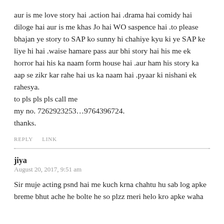aur is me love story hai .action hai .drama hai comidy hai diloge hai aur is me khas Jo hai WO saspence hai .to please bhajan ye story to SAP ko sunny hi chahiye kyu ki ye SAP ke liye hi hai .waise hamare pass aur bhi story hai his me ek horror hai his ka naam form house hai .aur ham his story ka aap se zikr kar rahe hai us ka naam hai .pyaar ki nishani ek rahesya.
to pls pls pls call me
my no. 7262923253…9764396724.
thanks.
REPLY    LINK
jiya
August 20, 2017, 9:51 am
Sir muje acting psnd hai me kuch krna chahtu hu sab log apke breme bhut ache he bolte he so plzz meri helo kro apke waha